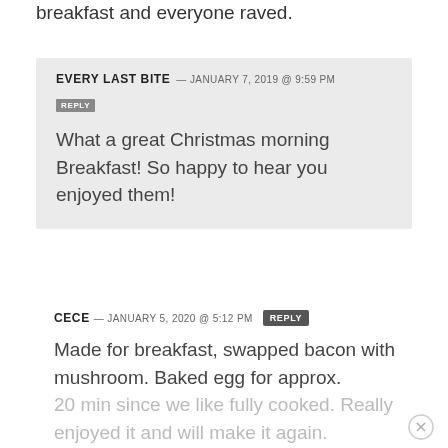breakfast and everyone raved.
EVERY LAST BITE — JANUARY 7, 2019 @ 9:59 PM
REPLY
What a great Christmas morning Breakfast! So happy to hear you enjoyed them!
CECE — JANUARY 5, 2020 @ 5:12 PM
REPLY
Made for breakfast, swapped bacon with mushroom. Baked egg for approx. 20 min since we like fully cooked. Really enjoyed it and will make it again.